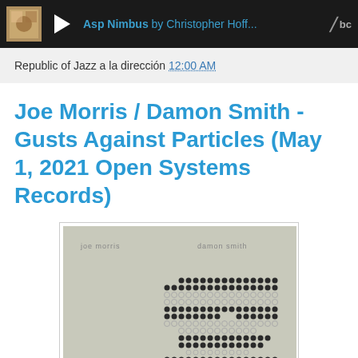[Figure (screenshot): Bandcamp audio player bar showing 'Asp Nimbus by Christopher Hoff...' with play button and bc logo]
Republic of Jazz a la dirección 12:00 AM
Joe Morris / Damon Smith - Gusts Against Particles (May 1, 2021 Open Systems Records)
[Figure (photo): Album cover art for Gusts Against Particles by Joe Morris and Damon Smith. Gray/beige background with 'joe morris' top left and 'damon smith' top right in small text. Center-right features a pattern of filled and outlined circles arranged in a rectangular grid with alternating rows of solid dots and open rings.]